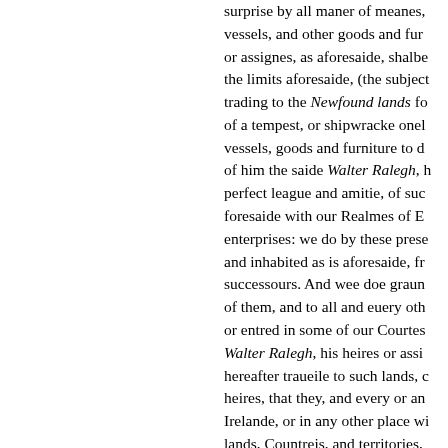surprise by all maner of meanes, vessels, and other goods and furniture, or assignes, as aforesaide, shalbe within the limits aforesaide, (the subject trading to the Newfound lands for cause of a tempest, or shipwracke onely excepted) vessels, goods and furniture to doe the same of him the saide Walter Ralegh, his heires or assignes: perfect league and amitie, of such as are foresaide with our Realmes of England to enterprises: we do by these presentes, and inhabited as is aforesaide, from our successours. And wee doe graunt, of them, and to all and euery other or entred in some of our Courtes Walter Ralegh, his heires or assignes hereafter traueile to such lands, countries, heires, that they, and every or any of Irelande, or in any other place within lands, Countreis, and territories, free Denizens, and persons natiues in fourme, as if they were borne and custome, or vsage to the contrary. And for asmuch as upon the first